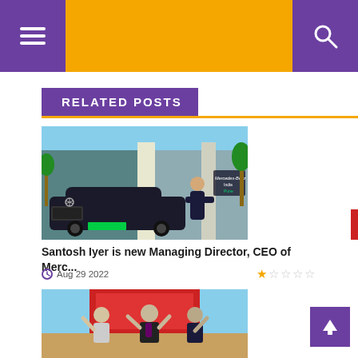Navigation header bar with menu and search
RELATED POSTS
[Figure (photo): Santosh Iyer standing in front of a Mercedes-Benz car at Mercedes-Benz India, Pune office]
Santosh Iyer is new Managing Director, CEO of Merc...
Aug 29 2022
[Figure (photo): Three men raising hands at an event, appearing to be at a public function or inauguration]